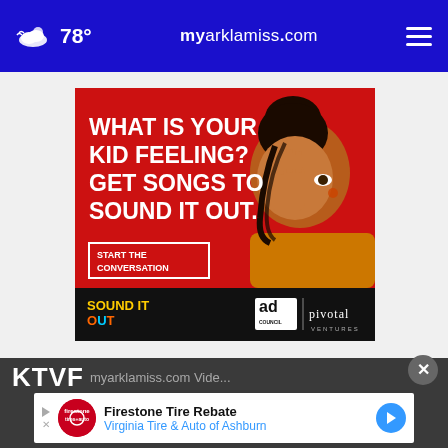78° myarklamiss.com
[Figure (advertisement): Red background ad with a young woman holding her hand over one eye. Text: WHAT IS YOUR KID FEELING? GET SONGS TO SOUND IT OUT. START THE CONVERSATION. Sound It Out logo. Ad Council and Pivotal logos.]
[Figure (advertisement): Firestone Tire Rebate - Virginia Tire & Auto of Ashburn bottom banner ad]